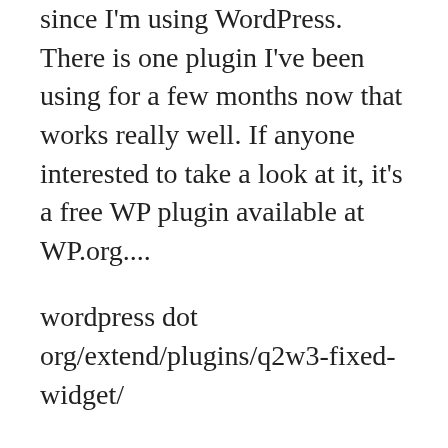since I'm using WordPress. There is one plugin I've been using for a few months now that works really well. If anyone interested to take a look at it, it's a free WP plugin available at WP.org....
wordpress dot org/extend/plugins/q2w3-fixed-widget/
(replace dot with . and remove spaces)
The plugin is very helpful for those